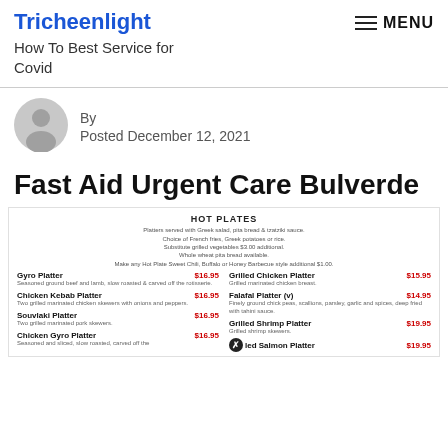Tricheenlight
How To Best Service for Covid
[Figure (other): Avatar/profile placeholder icon, gray circle with silhouette]
By
Posted December 12, 2021
Fast Aid Urgent Care Bulverde
[Figure (table-as-image): Restaurant menu section: HOT PLATES. Platters served with Greek salad, pita bread & tzatziki sauce. Choice of French fries, Greek potatoes or rice. Substitute grilled vegetables $3.00 additional. Whole wheat pita bread available. Make any Hot Plate Sweet Chili, Buffalo or Honey Barbecue style additional $1.00. Items: Gyro Platter $16.95, Grilled Chicken Platter $15.95, Chicken Kebab Platter $16.95, Falafal Platter (v) $14.95, Souvlaki Platter $16.95, Grilled Shrimp Platter $19.95, Chicken Gyro Platter $16.95, [Grilled] Salmon Platter $19.95]